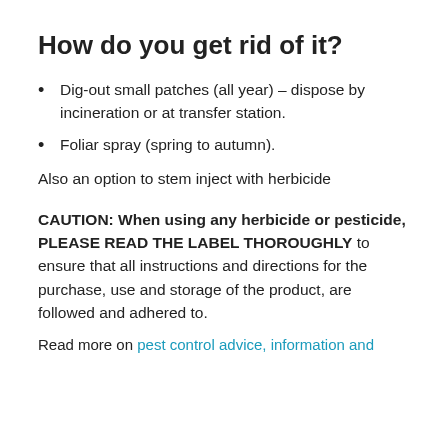How do you get rid of it?
Dig-out small patches (all year) – dispose by incineration or at transfer station.
Foliar spray (spring to autumn).
Also an option to stem inject with herbicide
CAUTION: When using any herbicide or pesticide, PLEASE READ THE LABEL THOROUGHLY to ensure that all instructions and directions for the purchase, use and storage of the product, are followed and adhered to.
Read more on pest control advice, information and